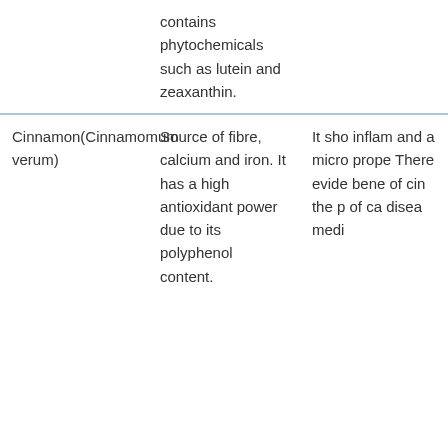| Ingredient | Nutritional/Phytochemical Properties | Health Benefits |
| --- | --- | --- |
|  | contains phytochemicals such as lutein and zeaxanthin. |  |
| Cinnamon(Cinnamomum verum) | Source of fibre, calcium and iron. It has a high antioxidant power due to its polyphenol content. | It sho inflam and a micro prope There evide bene of cin the p of ca disea medi |